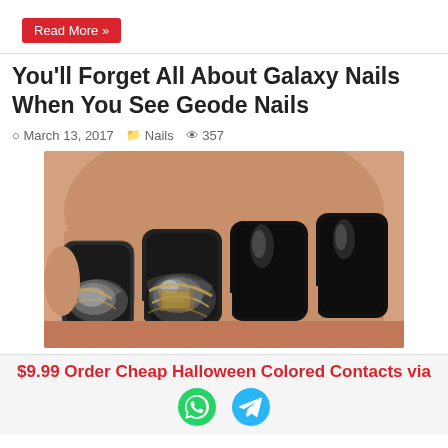Read More »
You'll Forget All About Galaxy Nails When You See Geode Nails
March 13, 2017  Nails  357
[Figure (photo): Close-up photo of geode nails — black, white, and gold marbled nail art resembling geode stone cross-sections, on a hand against a light background.]
$9.99 Order Cheap Halloween Colored Contacts via
[Figure (logo): WhatsApp green circle icon]
[Figure (logo): Telegram blue circle icon]